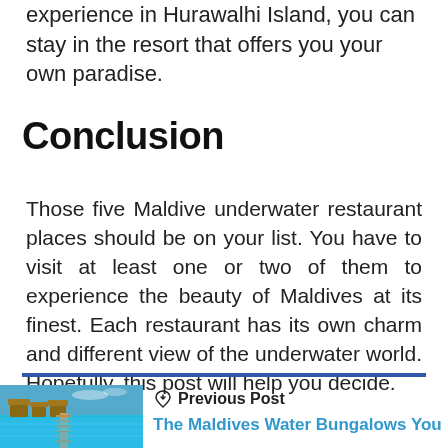experience in Hurawalhi Island, you can stay in the resort that offers you your own paradise.
Conclusion
Those five Maldive underwater restaurant places should be on your list. You have to visit at least one or two of them to experience the beauty of Maldives at its finest. Each restaurant has its own charm and different view of the underwater world. Hopefully, this post will help you decide.
[Figure (photo): Thumbnail image of Maldives water bungalows over turquoise water with a wooden pier]
Previous Post
The Maldives Water Bungalows You